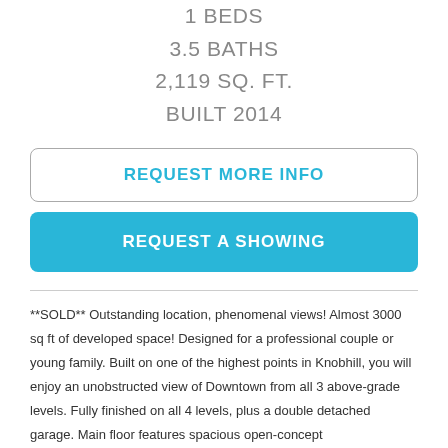1 BEDS
3.5 BATHS
2,119 SQ. FT.
BUILT 2014
REQUEST MORE INFO
REQUEST A SHOWING
**SOLD** Outstanding location, phenomenal views! Almost 3000 sq ft of developed space! Designed for a professional couple or young family. Built on one of the highest points in Knobhill, you will enjoy an unobstructed view of Downtown from all 3 above-grade levels. Fully finished on all 4 levels, plus a double detached garage. Main floor features spacious open-concept living/kitchen/dining, w/ stylish built-in cabinetry &